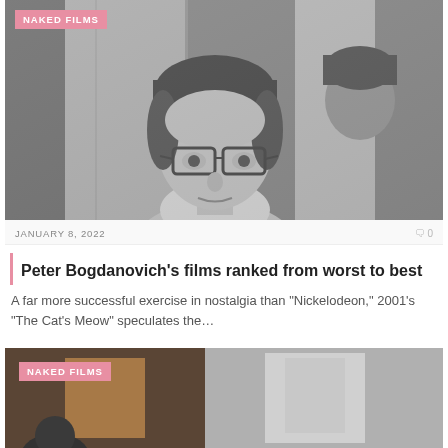[Figure (photo): Black and white photo of a man with glasses looking directly at the camera, another person visible behind him.]
NAKED FILMS
JANUARY 8, 2022
0
Peter Bogdanovich’s films ranked from worst to best
A far more successful exercise in nostalgia than “Nickelodeon,” 2001’s “The Cat’s Meow” speculates the…
[Figure (photo): Partial view of a second article image, appearing to show an indoor scene with warm tones.]
NAKED FILMS